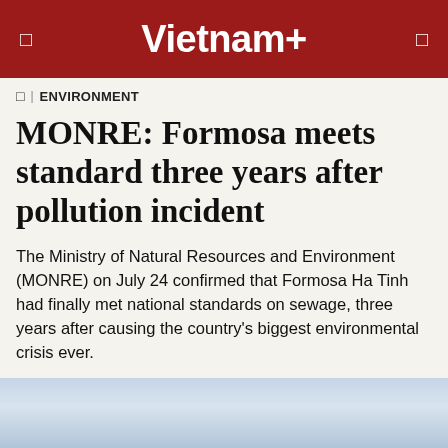Vietnam+
ENVIRONMENT
MONRE: Formosa meets standard three years after pollution incident
The Ministry of Natural Resources and Environment (MONRE) on July 24 confirmed that Formosa Ha Tinh had finally met national standards on sewage, three years after causing the country's biggest environmental crisis ever.
VNA  -  Thursday, July 25, 2019 19:31
[Figure (other): Social media share buttons: Facebook, Zalo, Twitter, Google+, and more]
[Figure (photo): Partial photo at bottom of page showing sky and possibly water/landscape]